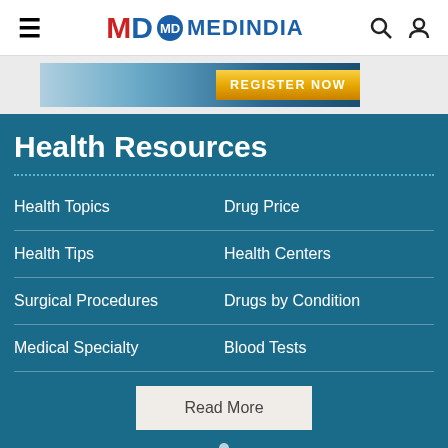MD MEDINDIA
[Figure (infographic): MedIndia website screenshot header with hamburger menu, MD Medindia logo, search icon, and user icon]
[Figure (infographic): Advertisement banner with blue gradient background and orange REGISTER NOW button]
Health Resources
Health Topics
Drug Price
Health Tips
Health Centers
Surgical Procedures
Drugs by Condition
Medical Specialty
Blood Tests
Read More